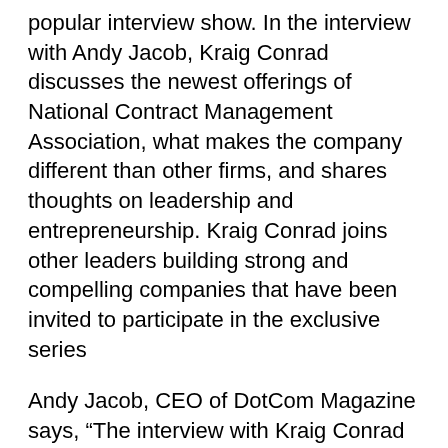popular interview show. In the interview with Andy Jacob, Kraig Conrad discusses the newest offerings of National Contract Management Association, what makes the company different than other firms, and shares thoughts on leadership and entrepreneurship. Kraig Conrad joins other leaders building strong and compelling companies that have been invited to participate in the exclusive series
Andy Jacob, CEO of DotCom Magazine says, “The interview with Kraig Conrad was amazing. The success of National Contract Management Association is a true testament to their team and their people. It was a real honor to have Kraig Conrad on the video series.
Andy Jacob says, “It’s the goal of DotCom Magazine to provide the absolute best in what entrepreneurship has to offer. We have interviewed many of the world’s leading entropreneurs in their respective field. It takes amazing